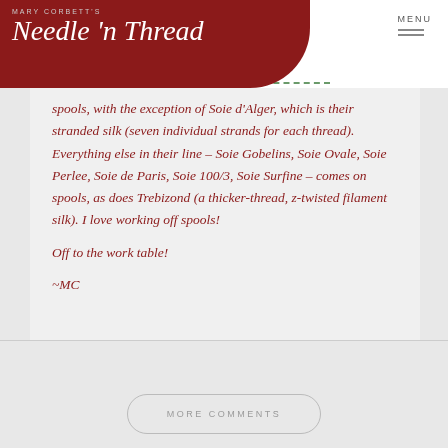Mary Corbett's Needle 'n Thread
spools, with the exception of Soie d'Alger, which is their stranded silk (seven individual strands for each thread). Everything else in their line – Soie Gobelins, Soie Ovale, Soie Perlee, Soie de Paris, Soie 100/3, Soie Surfine – comes on spools, as does Trebizond (a thicker-thread, z-twisted filament silk). I love working off spools!

Off to the work table!

~MC
MORE COMMENTS